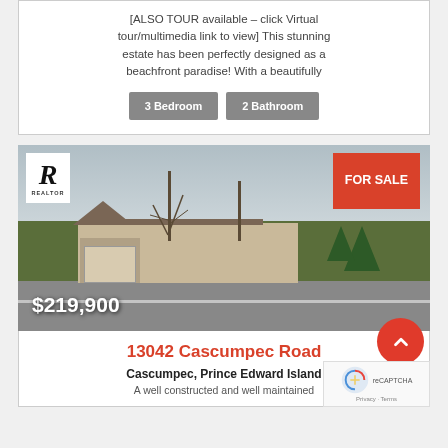[ALSO TOUR available – click Virtual tour/multimedia link to view] This stunning estate has been perfectly designed as a beachfront paradise! With a beautifully
3 Bedroom
2 Bathroom
[Figure (photo): Exterior photo of a single-storey house with bare trees, green lawn, and road in foreground. FOR SALE badge in top right. Price $219,900 in bottom left. Realtor logo in top left.]
13042 Cascumpec Road
Cascumpec, Prince Edward Island
A well constructed and well maintained